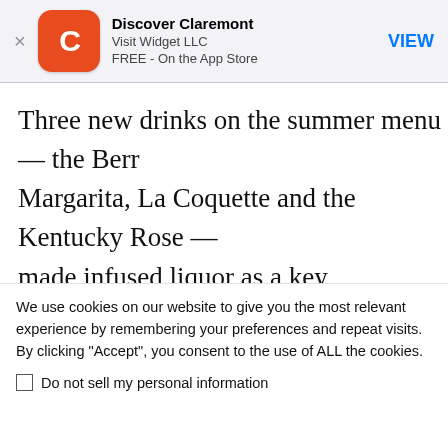[Figure (screenshot): App Store smart banner for 'Discover Claremont' by Visit Widget LLC. Shows an orange app icon with a white C, app name, developer, price (FREE - On the App Store), and a blue VIEW button.]
Three new drinks on the summer menu — the Berr Margarita, La Coquette and the Kentucky Rose — made infused liquor as a key ingredient. “I’ve beer liquor with local, farmers market herbs and fruits, a generated a lot of interest amongst our patrons, mixologist Will Van Leuven. “Our new summer mer up our most popular infusions, like the jalapeno-cu
We use cookies on our website to give you the most relevant experience by remembering your preferences and repeat visits. By clicking “Accept”, you consent to the use of ALL the cookies.
Do not sell my personal information